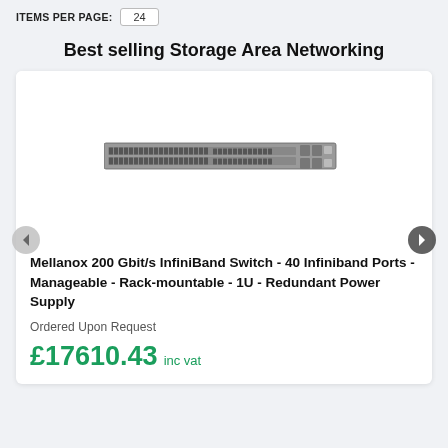ITEMS PER PAGE: 24
Best selling Storage Area Networking
[Figure (photo): Mellanox 200 Gbit/s InfiniBand Switch rack unit hardware photo showing a 1U rack-mountable switch with multiple ports]
Mellanox 200 Gbit/s InfiniBand Switch - 40 Infiniband Ports - Manageable - Rack-mountable - 1U - Redundant Power Supply
Ordered Upon Request
£17610.43 inc vat